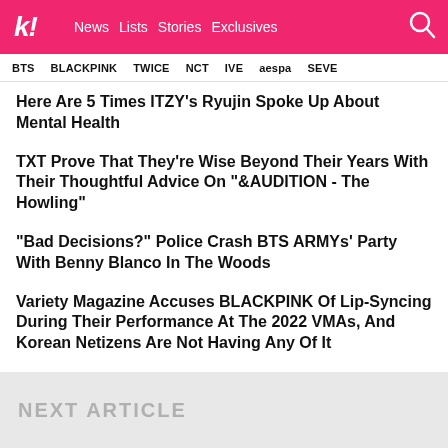Koreaboo | News | Lists | Stories | Exclusives
BTS  BLACKPINK  TWICE  NCT  IVE  aespa  SEVE
Here Are 5 Times ITZY's Ryujin Spoke Up About Mental Health
TXT Prove That They're Wise Beyond Their Years With Their Thoughtful Advice On "&AUDITION - The Howling"
"Bad Decisions?" Police Crash BTS ARMYs' Party With Benny Blanco In The Woods
Variety Magazine Accuses BLACKPINK Of Lip-Syncing During Their Performance At The 2022 VMAs, And Korean Netizens Are Not Having Any Of It
Actor Kang Tae Oh Personally Announces He Will Enlist In The Military On September 20
NEXT ARTICLE